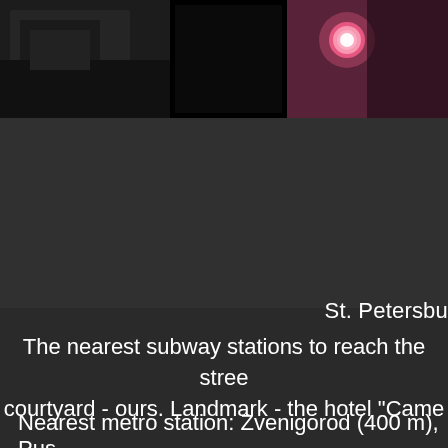[Figure (photo): Dark strip with photos at the top: left portion shows a dark/dim room scene, center shows a black rectangle, right portion shows a pink/red lit scene possibly with a light or lamp.]
St. Petersbu
The nearest subway stations to reach the stree courtyard - ours. Landmark - the hotel "Came
Nearest metro station: Zvenigorod (400 m), Pus